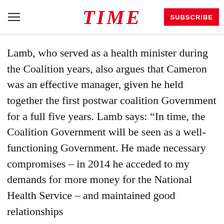TIME
Lamb, who served as a health minister during the Coalition years, also argues that Cameron was an effective manager, given he held together the first postwar coalition Government for a full five years. Lamb says: “In time, the Coalition Government will be seen as a well-functioning Government. He made necessary compromises – in 2014 he acceded to my demands for more money for the National Health Service – and maintained good relationships
READ NEXT
[Figure (photo): Photo of Theresa May standing outside a building]
Watch Live: Theresa May Sworn in as Britain’s New Prime Minister